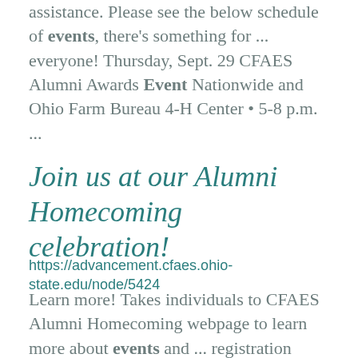assistance. Please see the below schedule of events, there's something for ... everyone! Thursday, Sept. 29 CFAES Alumni Awards Event Nationwide and Ohio Farm Bureau 4-H Center • 5-8 p.m. ...
Join us at our Alumni Homecoming celebration!
https://advancement.cfaes.ohio-state.edu/node/5424
Learn more! Takes individuals to CFAES Alumni Homecoming webpage to learn more about events and ... registration information CFAES alumni, we've planned three days of Homecoming events just for